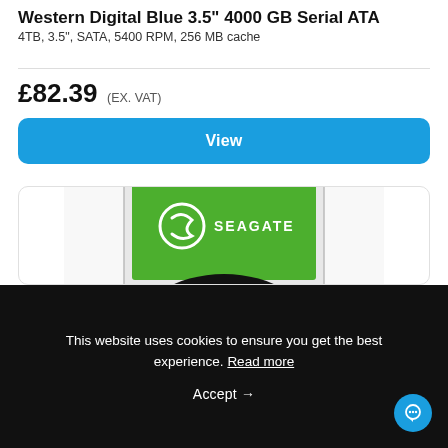Western Digital Blue 3.5" 4000 GB Serial ATA
4TB, 3.5", SATA, 5400 RPM, 256 MB cache
£82.39 (EX. VAT)
View
[Figure (photo): Photo of a Seagate hard disk drive with green label, showing SEAGATE branding with logo, mounted in drive brackets, partially cropped at bottom]
This website uses cookies to ensure you get the best experience. Read more
Accept →